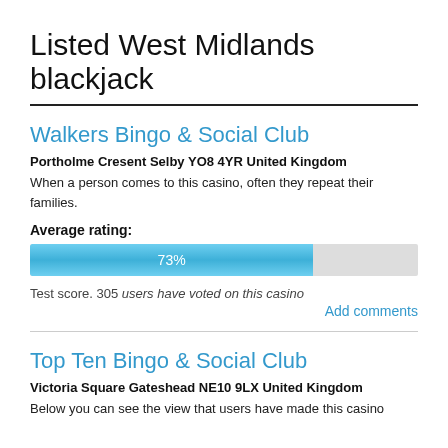Listed West Midlands blackjack
Walkers Bingo & Social Club
Portholme Cresent Selby YO8 4YR United Kingdom
When a person comes to this casino, often they repeat their families.
Average rating:
[Figure (bar-chart): Average rating]
Test score. 305 users have voted on this casino
Add comments
Top Ten Bingo & Social Club
Victoria Square Gateshead NE10 9LX United Kingdom
Below you can see the view that users have made this casino